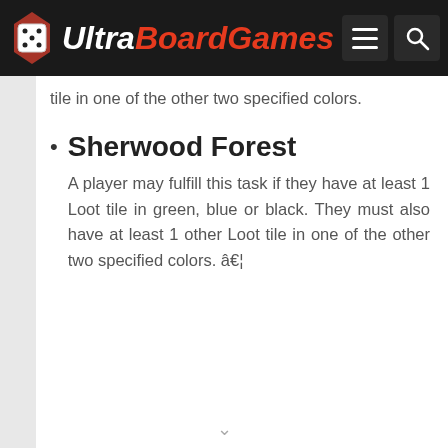Ultra BoardGames
tile in one of the other two specified colors.
Sherwood Forest — A player may fulfill this task if they have at least 1 Loot tile in green, blue or black. They must also have at least 1 other Loot tile in one of the other two specified colors. â€¦